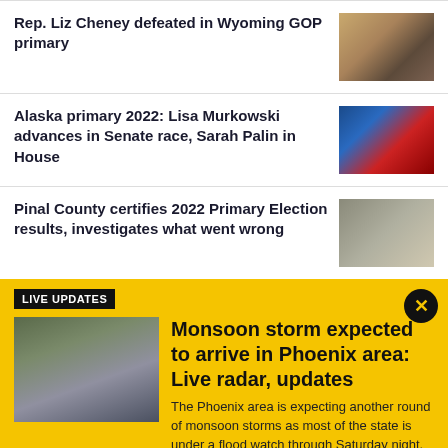Rep. Liz Cheney defeated in Wyoming GOP primary
[Figure (photo): Photo of Rep. Liz Cheney]
Alaska primary 2022: Lisa Murkowski advances in Senate race, Sarah Palin in House
[Figure (photo): Photo related to Alaska primary candidates]
Pinal County certifies 2022 Primary Election results, investigates what went wrong
[Figure (photo): Photo related to Pinal County election]
LIVE UPDATES
[Figure (photo): Photo of rainy road with vehicles during monsoon storm]
Monsoon storm expected to arrive in Phoenix area: Live radar, updates
The Phoenix area is expecting another round of monsoon storms as most of the state is under a flood watch through Saturday night. We have the latest on this round of wet weather.